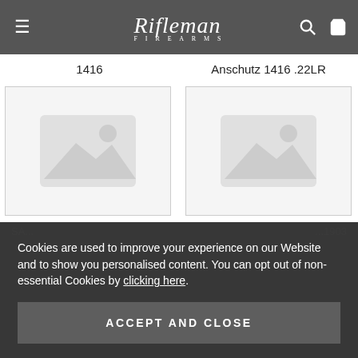Rifleman Firearms
1416
Anschutz 1416 .22LR
[Figure (photo): Placeholder image box left - no image available]
[Figure (photo): Placeholder image box right - no image available]
Cookies are used to improve your experience on our Website and to show you personalised content. You can opt out of non-essential Cookies by clicking here.
ACCEPT AND CLOSE